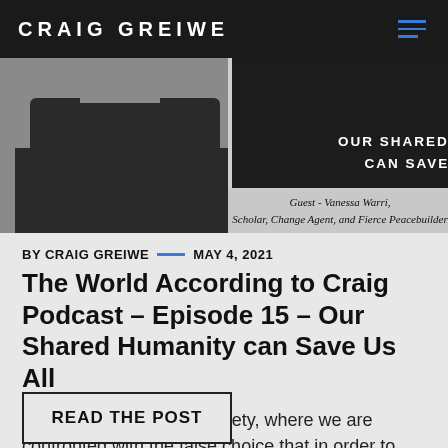CRAIG GREIWE
[Figure (photo): Podcast episode image showing a person in a dark sweater on the left, and text on dark background reading 'OUR SHARED HUMANITY CAN SAVE US ALL', with caption 'Guest - Vanessa Warri, Scholar, Change Agent, and Fierce Peacebuilder']
BY CRAIG GREIWE — MAY 4, 2021
The World According to Craig Podcast – Episode 15 – Our Shared Humanity can Save Us All
We live in a zero-sum society, where we are confronted with the false choice that in order to win, someone else has to lose. We [...]
READ THE POST